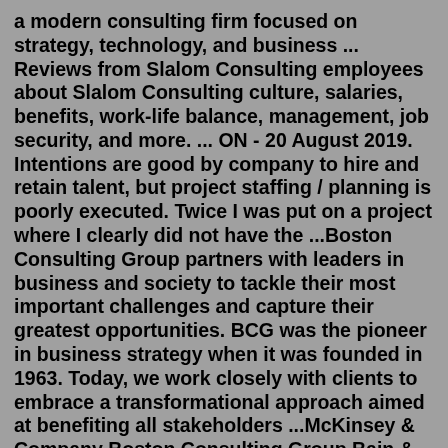a modern consulting firm focused on strategy, technology, and business ... Reviews from Slalom Consulting employees about Slalom Consulting culture, salaries, benefits, work-life balance, management, job security, and more. ... ON - 20 August 2019. Intentions are good by company to hire and retain talent, but project staffing / planning is poorly executed. Twice I was put on a project where I clearly did not have the ...Boston Consulting Group partners with leaders in business and society to tackle their most important challenges and capture their greatest opportunities. BCG was the pioneer in business strategy when it was founded in 1963. Today, we work closely with clients to embrace a transformational approach aimed at benefiting all stakeholders ...McKinsey & Company Boston Consulting Group Bain & Company EY Deloitte Accenture PwC KPMG Oliver Wyman Slalom Consulting IBM. ... 20 of 20. Salaries > Vancouver > Slalom. View Data as Table. Slalom in Vancouver, BC